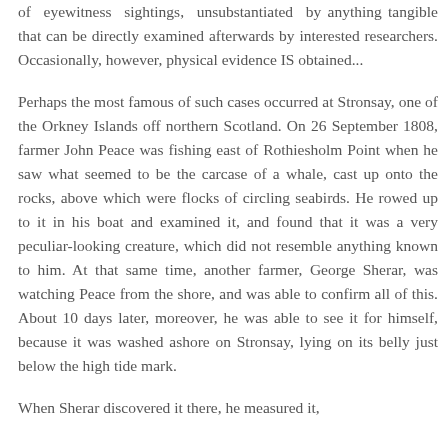of eyewitness sightings, unsubstantiated by anything tangible that can be directly examined afterwards by interested researchers. Occasionally, however, physical evidence IS obtained...
Perhaps the most famous of such cases occurred at Stronsay, one of the Orkney Islands off northern Scotland. On 26 September 1808, farmer John Peace was fishing east of Rothiesholm Point when he saw what seemed to be the carcase of a whale, cast up onto the rocks, above which were flocks of circling seabirds. He rowed up to it in his boat and examined it, and found that it was a very peculiar-looking creature, which did not resemble anything known to him. At that same time, another farmer, George Sherar, was watching Peace from the shore, and was able to confirm all of this. About 10 days later, moreover, he was able to see it for himself, because it was washed ashore on Stronsay, lying on its belly just below the high tide mark.
When Sherar discovered it there, he measured it,